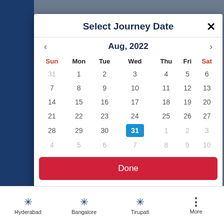Select Journey Date
[Figure (screenshot): Calendar date picker modal for August 2022 with 31 selected (highlighted in blue). Days of week headers: Sun (red), Mon, Tue, Wed, Thu, Fri, Sat (red). Navigation arrows for prev/next month. Done button in red at bottom. Bottom navigation bar with Hyderabad, Bangalore, Tirupati, More.]
Aug, 2022
| Sun | Mon | Tue | Wed | Thu | Fri | Sat |
| --- | --- | --- | --- | --- | --- | --- |
| 31 | 1 | 2 | 3 | 4 | 5 | 6 |
| 7 | 8 | 9 | 10 | 11 | 12 | 13 |
| 14 | 15 | 16 | 17 | 18 | 19 | 20 |
| 21 | 22 | 23 | 24 | 25 | 26 | 27 |
| 28 | 29 | 30 | 31 | 1 | 2 | 3 |
| 4 | 5 | 6 | 7 | 8 | 9 | 10 |
Done
Hyderabad
Bangalore
Tirupati
More